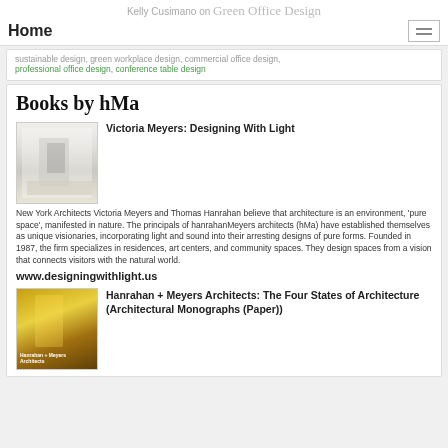Kelly Cusimano on Green Office Design
Home
sustainable design, green workplace design, commercial office design, professional office design, conference table design
Books by hMa
[Figure (photo): Book cover: Victoria Meyers Designing With Light - interior architecture photo with white modern space]
Victoria Meyers: Designing With Light
New York Architects Victoria Meyers and Thomas Hanrahan believe that architecture is an environment, 'pure space', manifested in nature. The principals of hanrahanMeyers architects (hMa) have established themselves as unique visionaries, incorporating light and sound into their arresting designs of pure forms. Founded in 1987, the firm specializes in residences, art centers, and community spaces. They design spaces from a vision that connects visitors with the natural world.
www.designingwithlight.us
[Figure (photo): Book cover: Hanrahan + Meyers Architects: The Four States of Architecture - yellow/gold toned architectural photo]
Hanrahan + Meyers Architects: The Four States of Architecture (Architectural Monographs (Paper))